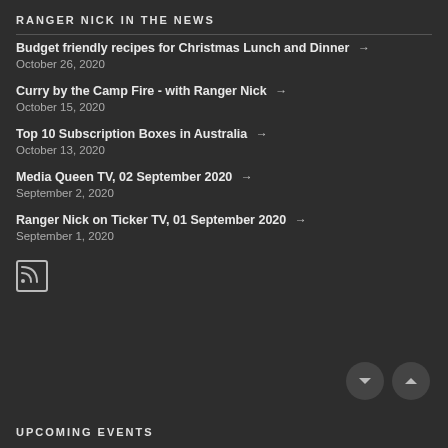RANGER NICK IN THE NEWS
Budget friendly recipes for Christmas Lunch and Dinner → October 26, 2020
Curry by the Camp Fire - with Ranger Nick → October 15, 2020
Top 10 Subscription Boxes in Australia → October 13, 2020
Media Queen TV, 02 September 2020 → September 2, 2020
Ranger Nick on Ticker TV, 01 September 2020 → September 1, 2020
[Figure (other): RSS feed icon]
[Figure (other): Navigation down and up arrow buttons]
UPCOMING EVENTS